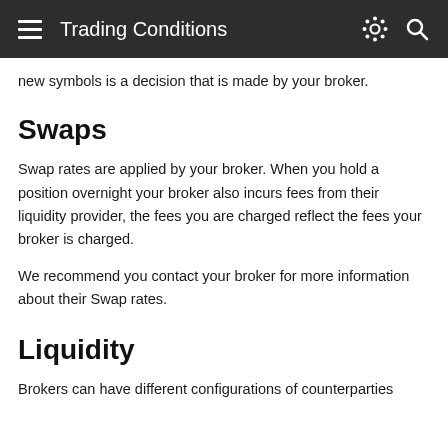Trading Conditions
new symbols is a decision that is made by your broker.
Swaps
Swap rates are applied by your broker. When you hold a position overnight your broker also incurs fees from their liquidity provider, the fees you are charged reflect the fees your broker is charged.
We recommend you contact your broker for more information about their Swap rates.
Liquidity
Brokers can have different configurations of counterparties